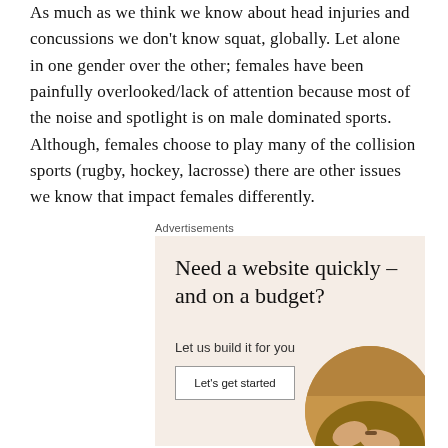As much as we think we know about head injuries and concussions we don't know squat, globally. Let alone in one gender over the other; females have been painfully overlooked/lack of attention because most of the noise and spotlight is on male dominated sports. Although, females choose to play many of the collision sports (rugby, hockey, lacrosse) there are other issues we know that impact females differently.
Advertisements
[Figure (other): Advertisement box with beige/cream background. Headline reads 'Need a website quickly – and on a budget?' Subtext: 'Let us build it for you'. Button: 'Let's get started'. Circular image of person's hands on laptop.]